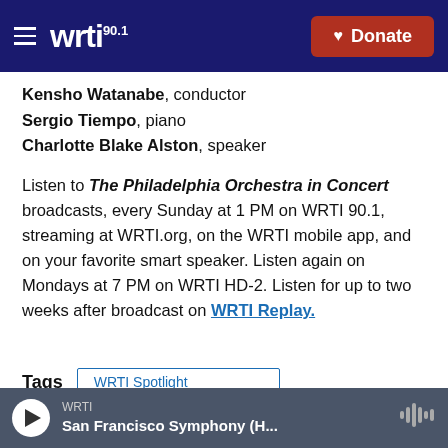WRTI 90.1 — Donate
Kensho Watanabe, conductor
Sergio Tiempo, piano
Charlotte Blake Alston, speaker
Listen to The Philadelphia Orchestra in Concert broadcasts, every Sunday at 1 PM on WRTI 90.1, streaming at WRTI.org, on the WRTI mobile app, and on your favorite smart speaker. Listen again on Mondays at 7 PM on WRTI HD-2. Listen for up to two weeks after broadcast on WRTI Replay.
Tags  WRTI Spotlight  The Philadelphia Orchestra